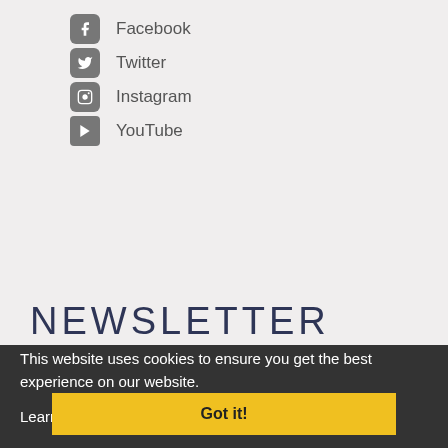Facebook
Twitter
Instagram
YouTube
NEWSLETTER
Sign up for weekly recipes, class updates, tips and more!
Type your email address
This website uses cookies to ensure you get the best experience on our website.
Sign up!
Learn more
Got it!
© 2022 The Gourmandise School Site built by ConnieNassiosWebworks